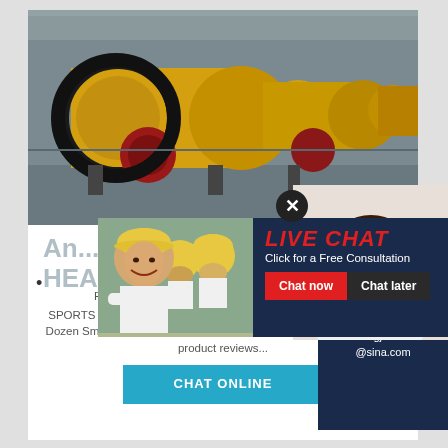[Figure (photo): Industrial yellow ball mill machinery in a factory setting, multiple large cylindrical grinding mills in a row with red drive components]
An... HEA...
Find helpful customer reviews and review ratings...
SPORTS Crusher Curveball Small Ball Baseball and Machine With 1 Dozen Small Golf Ball Sized Ball Amazon. Read honest and unbiased product reviews...
[Figure (screenshot): Live chat popup overlay showing workers in hard hats, LIVE CHAT header in red italic text, Click for a Free Consultation subtitle, Chat now (red) and Chat later (dark) buttons]
[Figure (photo): Customer service woman with headset smiling, close-up portrait]
CHAT ONLINE
ave any requests, click here.
Quotation
Enquiry
limingjlmofen@sina.com